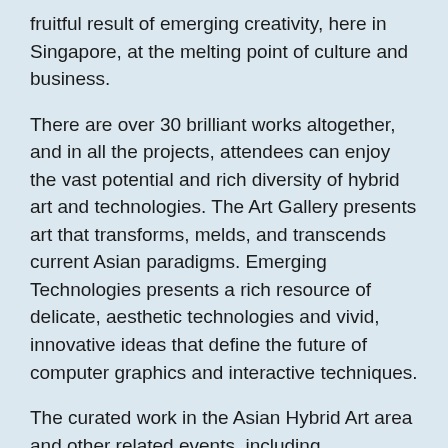fruitful result of emerging creativity, here in Singapore, at the melting point of culture and business.
There are over 30 brilliant works altogether, and in all the projects, attendees can enjoy the vast potential and rich diversity of hybrid art and technologies. The Art Gallery presents art that transforms, melds, and transcends current Asian paradigms. Emerging Technologies presents a rich resource of delicate, aesthetic technologies and vivid, innovative ideas that define the future of computer graphics and interactive techniques.
The curated work in the Asian Hybrid Art area and other related events, including collaborative panels with the Japan Media Arts Festival, also demonstrate this area's creative communities and possibilities.
Recently, Singapore has hosted many international festivals and art shows: ARS Electronica, ISEA, the Singapore Biennale, the Japan Media Arts Festival at the Singapore Art